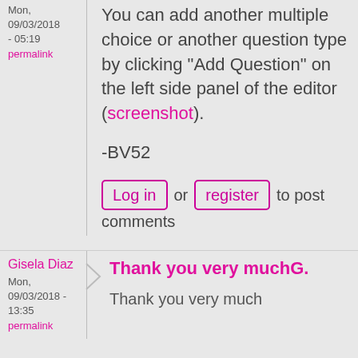Mon, 09/03/2018 - 05:19
permalink
You can add another multiple choice or another question type by clicking "Add Question" on the left side panel of the editor (screenshot).
-BV52
Log in or register to post comments
Gisela Diaz
Mon, 09/03/2018 - 13:35
permalink
Thank you very muchG.
Thank you very much